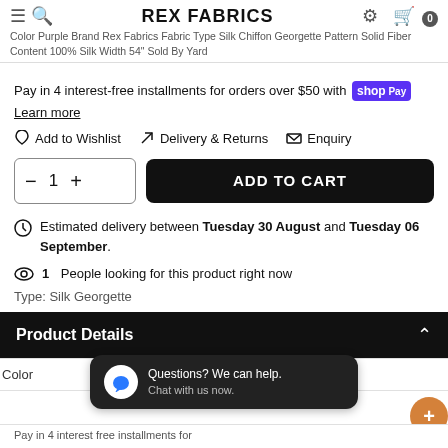Color Purple Brand Rex Fabrics Fabric Type Silk Chiffon Georgette Pattern Solid Fiber Content 100% Silk Width 54" Sold By Yard
Pay in 4 interest-free installments for orders over $50 with shop Pay
Learn more
Add to Wishlist   Delivery & Returns   Enquiry
ADD TO CART (quantity: 1)
Estimated delivery between Tuesday 30 August and Tuesday 06 September.
1 People looking for this product right now
Type: Silk Georgette
Product Details
| Color | Purple |
| --- | --- |
Questions? We can help. Chat with us now.
Pay in 4 interest free installments for